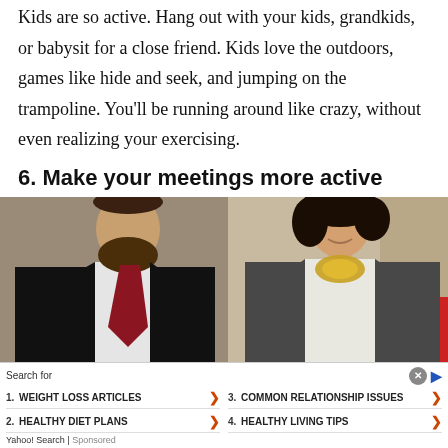Kids are so active. Hang out with your kids, grandkids, or babysit for a close friend. Kids love the outdoors, games like hide and seek, and jumping on the trampoline. You'll be running around like crazy, without even realizing your exercising.
6. Make your meetings more active
[Figure (photo): Two professionally dressed people (a bearded man in a suit with red tie and a woman with curly hair in a grey blazer with a gold necklace) walking outdoors.]
Search for
1. WEIGHT LOSS ARTICLES
2. HEALTHY DIET PLANS
3. COMMON RELATIONSHIP ISSUES
4. HEALTHY LIVING TIPS
Yahoo! Search | Sponsored